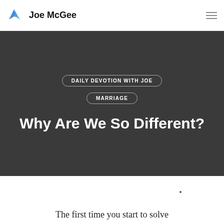Joe McGee
DAILY DEVOTION WITH JOE
MARRIAGE
Why Are We So Different?
The first time you start to solve